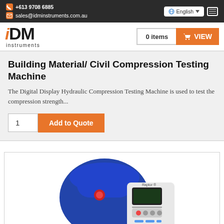+613 9708 6885 | sales@idminstruments.com.au | English | Menu
[Figure (logo): IDM Instruments logo with orange 'i' and dark 'DM' text]
Building Material/ Civil Compression Testing Machine
The Digital Display Hydraulic Compression Testing Machine is used to test the compression strength...
1  Add to Quote
[Figure (photo): Blue and white hydraulic compression testing machine with digital display and control panel]